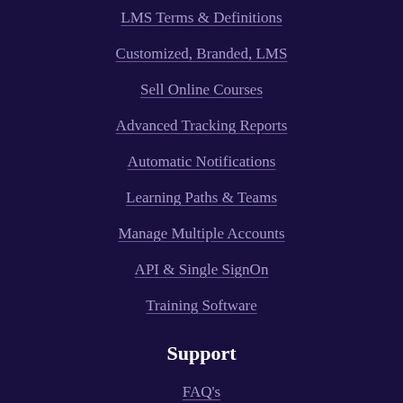LMS Terms & Definitions
Customized, Branded, LMS
Sell Online Courses
Advanced Tracking Reports
Automatic Notifications
Learning Paths & Teams
Manage Multiple Accounts
API & Single SignOn
Training Software
Support
FAQ's
Tutorials
LMS Support
Free Training Resources